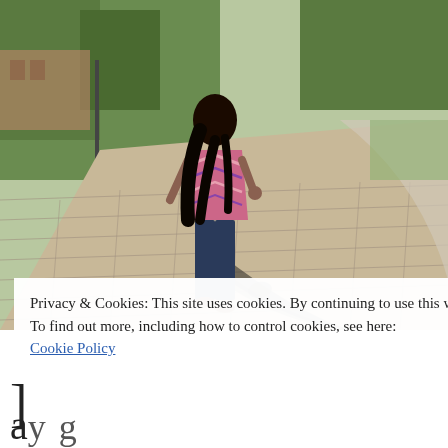[Figure (photo): A person with long dark hair, wearing a colorful chevron/zigzag patterned sleeveless top and dark jeans, walking away from the camera on a brick paved campus pathway. The person casts a long shadow on the bricks. Green grass and trees are visible on the left, a smooth concrete path curves to the right, and brick buildings are partially visible in the upper left background.]
Privacy & Cookies: This site uses cookies. By continuing to use this website, you agree to their use.
To find out more, including how to control cookies, see here:
Cookie Policy
Close and accept